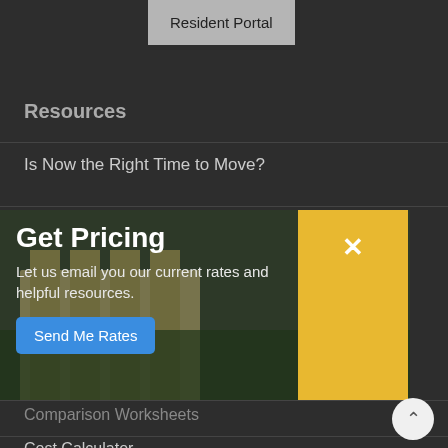[Figure (screenshot): Resident Portal navigation button at the top of the page]
Resources
Is Now the Right Time to Move?
[Figure (infographic): Get Pricing popup card with building photo background. Title: Get Pricing. Subtitle: Let us email you our current rates and helpful resources. Blue button: Send Me Rates. Yellow close button on the right with X.]
Comparison Worksheets
Cost Calculator